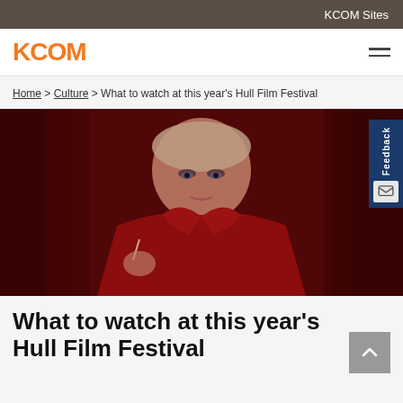KCOM Sites
[Figure (logo): KCOM logo in orange text]
Home > Culture > What to watch at this year's Hull Film Festival
[Figure (photo): Woman in red coat holding a cigarette against a dark red background. Promotional image for Hull Film Festival.]
What to watch at this year's Hull Film Festival